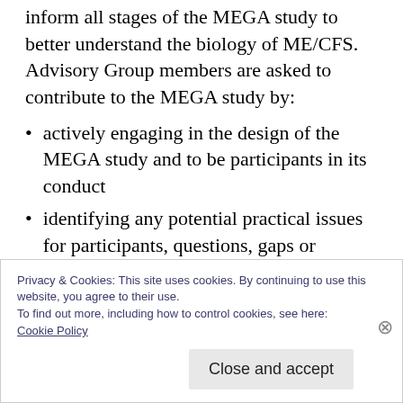inform all stages of the MEGA study to better understand the biology of ME/CFS. Advisory Group members are asked to contribute to the MEGA study by:
actively engaging in the design of the MEGA study and to be participants in its conduct
identifying any potential practical issues for participants, questions, gaps or concerns about the study and to comment on study documents and procedures
contributing to, and informing, the planning
Privacy & Cookies: This site uses cookies. By continuing to use this website, you agree to their use.
To find out more, including how to control cookies, see here:
Cookie Policy